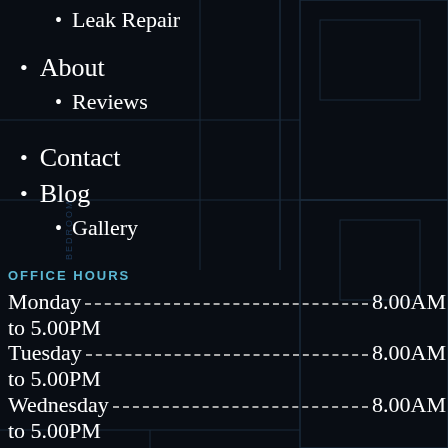[Figure (engineering-diagram): Blueprint floor plan background showing bedroom, bathroom, and M. BEDROOM labels with architectural lines and dimensions on dark navy/black background]
Leak Repair
About
Reviews
Contact
Blog
Gallery
OFFICE HOURS
Monday ----------------------------------------- 8.00AM
to 5.00PM
Tuesday ----------------------------------------- 8.00AM
to 5.00PM
Wednesday ----------------------------------------- 8.00AM
to 5.00PM
Thursday ----------------------------------------- 8.00AM to 5.00PM